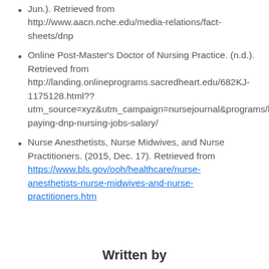Jun.). Retrieved from http://www.aacn.nche.edu/media-relations/fact-sheets/dnp
Online Post-Master's Doctor of Nursing Practice. (n.d.). Retrieved from http://landing.onlineprograms.sacredheart.edu/682KJ-1175128.html??utm_source=xyz&utm_campaign=nursejournal&programs/best-paying-dnp-nursing-jobs-salary/
Nurse Anesthetists, Nurse Midwives, and Nurse Practitioners. (2015, Dec. 17). Retrieved from https://www.bls.gov/ooh/healthcare/nurse-anesthetists-nurse-midwives-and-nurse-practitioners.htm
Written by